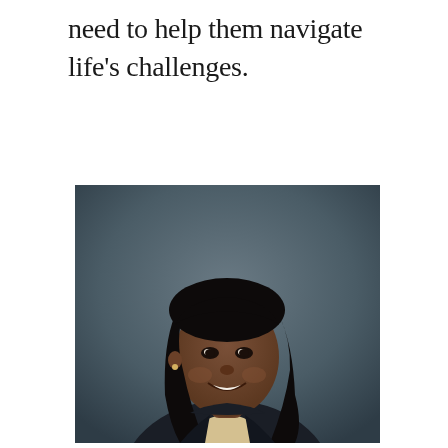need to help them navigate life's challenges.
[Figure (photo): Professional headshot of a smiling woman with long dark hair, wearing a dark blazer, photographed against a dark gray background.]